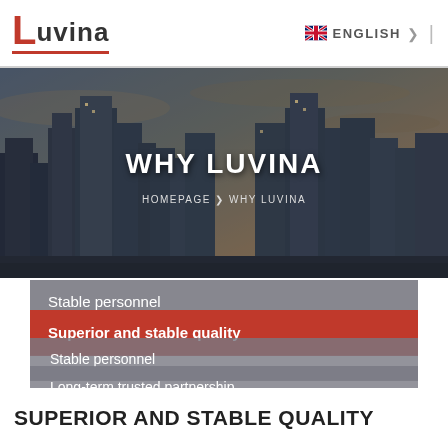[Figure (logo): Luvina company logo with red L and gray UVINA text]
ENGLISH
[Figure (screenshot): Hero banner with city skyline background, title WHY LUVINA and breadcrumb HOMEPAGE > WHY LUVINA]
WHY LUVINA
HOMEPAGE  ❯  WHY LUVINA
Stable personnel
Superior and stable quality
Stable personnel
Long-term trusted partnership
Rich experiences in Japanese market
SUPERIOR AND STABLE QUALITY